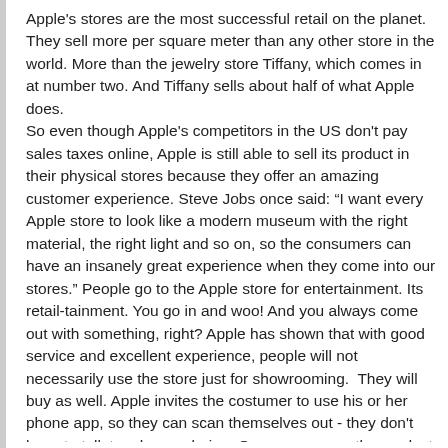Apple's stores are the most successful retail on the planet. They sell more per square meter than any other store in the world. More than the jewelry store Tiffany, which comes in at number two. And Tiffany sells about half of what Apple does.
So even though Apple's competitors in the US don't pay sales taxes online, Apple is still able to sell its product in their physical stores because they offer an amazing customer experience. Steve Jobs once said: “I want every Apple store to look like a modern museum with the right material, the right light and so on, so the consumers can have an insanely great experience when they come into our stores.” People go to the Apple store for entertainment. Its retail-tainment. You go in and woo! And you always come out with something, right? Apple has shown that with good service and excellent experience, people will not necessarily use the store just for showrooming.  They will buy as well. Apple invites the costumer to use his or her phone app, so they can scan themselves out - they don't have to talk to a human being. Or you can scan the product code and buy your iPhone elsewhere. Apple has such a belief in their brand and in their service. The costumers know that they can come back for more information and service if anything goes wrong. People will pay premium for that kind of service.